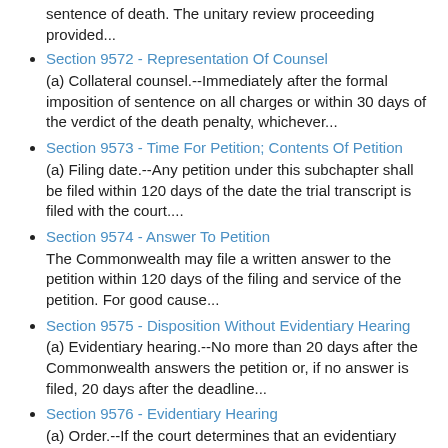sentence of death. The unitary review proceeding provided...
Section 9572 - Representation Of Counsel
(a) Collateral counsel.--Immediately after the formal imposition of sentence on all charges or within 30 days of the verdict of the death penalty, whichever...
Section 9573 - Time For Petition; Contents Of Petition
(a) Filing date.--Any petition under this subchapter shall be filed within 120 days of the date the trial transcript is filed with the court....
Section 9574 - Answer To Petition
The Commonwealth may file a written answer to the petition within 120 days of the filing and service of the petition. For good cause...
Section 9575 - Disposition Without Evidentiary Hearing
(a) Evidentiary hearing.--No more than 20 days after the Commonwealth answers the petition or, if no answer is filed, 20 days after the deadline...
Section 9576 - Evidentiary Hearing
(a) Order.--If the court determines that an evidentiary hearing is warranted, the court shall enter an order no more than 20 days after the...
Section 9577 - Disposition And Appeal